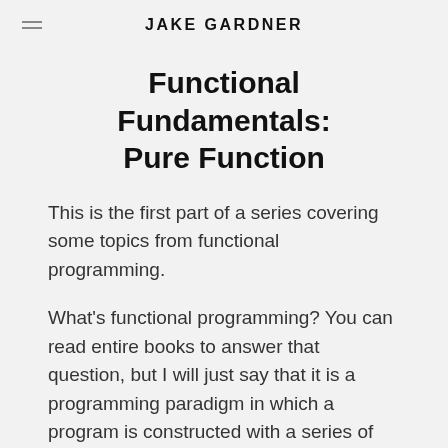JAKE GARDNER
Functional Fundamentals: Pure Function
This is the first part of a series covering some topics from functional programming.
What's functional programming? You can read entire books to answer that question, but I will just say that it is a programming paradigm in which a program is constructed with a series of simple, pure functions.
This is contrasted with the imperative paradigm,